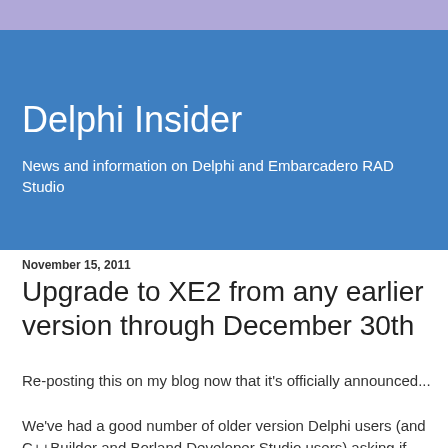Delphi Insider
News and information on Delphi and Embarcadero RAD Studio
November 15, 2011
Upgrade to XE2 from any earlier version through December 30th
Re-posting this on my blog now that it's officially announced...
We've had a good number of older version Delphi users (and C++Builder and Borland Developer Studio users) asking if there is any way they can get the upgrade price to move to